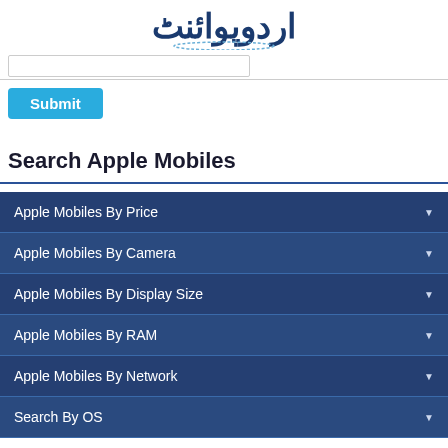[Figure (logo): Urdu Point website logo with Urdu script text in dark blue and light blue]
Submit
Search Apple Mobiles
Apple Mobiles By Price
Apple Mobiles By Camera
Apple Mobiles By Display Size
Apple Mobiles By RAM
Apple Mobiles By Network
Search By OS